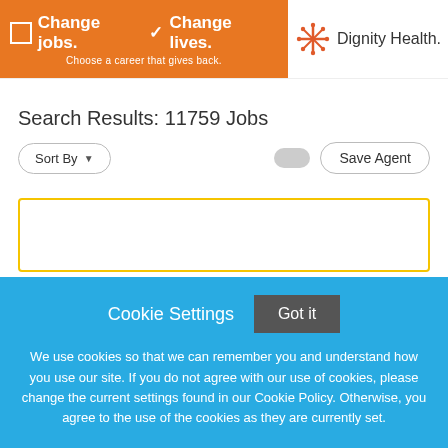[Figure (logo): Dignity Health banner with orange left section saying 'Change jobs. Change lives. Choose a career that gives back.' and Dignity Health logo on the right]
Search Results: 11759 Jobs
Sort By ▾
Save Agent
Cookie Settings
Got it
We use cookies so that we can remember you and understand how you use our site. If you do not agree with our use of cookies, please change the current settings found in our Cookie Policy. Otherwise, you agree to the use of the cookies as they are currently set.